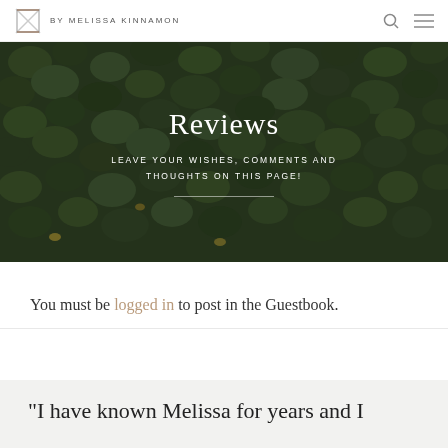BY MELISSA KINNAMON
[Figure (photo): Green leafy foliage background with hero text overlay]
Reviews
LEAVE YOUR WISHES, COMMENTS AND THOUGHTS ON THIS PAGE!
You must be logged in to post in the Guestbook.
"I have known Melissa for years and I